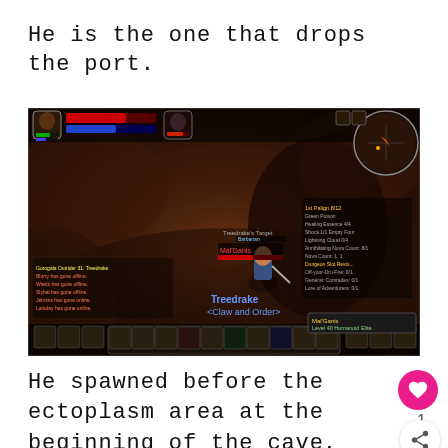He is the one that drops the port.
[Figure (screenshot): World of Warcraft screenshot showing a character named 'Treedrake <Claw and Order>' fighting Mal'Ganis in a dark cave dungeon. HUD elements visible including minimap, action bars, spell list, and chat log.]
He spawned before the ectoplasm area at the beginning of the cave, right after you enter from the oasis.